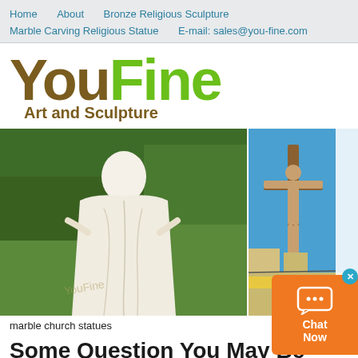Home   About   Bronze Religious Sculpture   Marble Carving Religious Statue   E-mail: sales@you-fine.com
YouFine Art and Sculpture
[Figure (photo): Two outdoor religious statues side by side: left shows a white marble robed figure (Virgin Mary) in a garden setting; right shows a bronze crucifix against a blue sky.]
marble church statues
Some Question You May Be